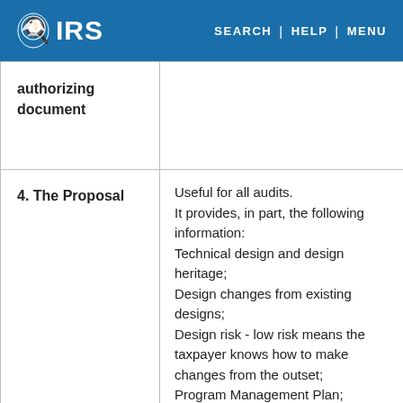IRS | SEARCH | HELP | MENU
| Document Type | Description |
| --- | --- |
| authorizing document |  |
| 4. The Proposal | Useful for all audits. It provides, in part, the following information: Technical design and design heritage; Design changes from existing designs; Design risk - low risk means the taxpayer knows how to make changes from the outset; Program Management Plan; |